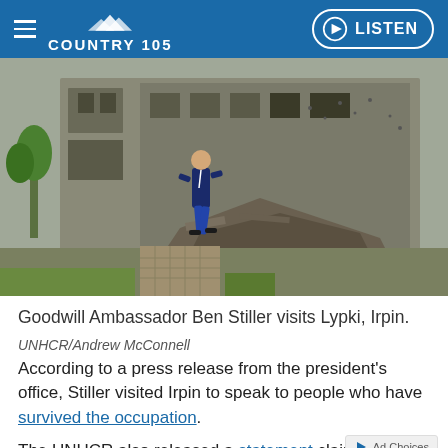COUNTRY 105 | LISTEN
[Figure (photo): A man in a dark blue shirt and jeans walks along a path in front of a heavily damaged and destroyed multi-story building, with rubble and debris scattered around. Green trees and grass are visible on the left side.]
Goodwill Ambassador Ben Stiller visits Lypki, Irpin.
UNHCR/Andrew McConnell
According to a press release from the president's office, Stiller visited Irpin to speak to people who have survived the occupation.
The UNHCR also released a statement claiming